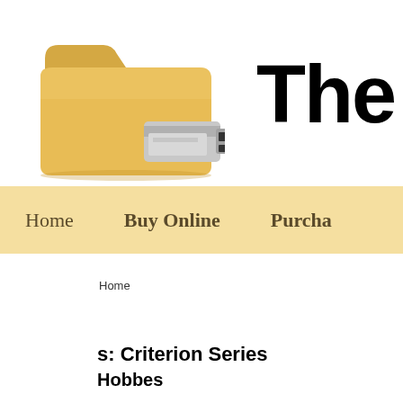[Figure (illustration): Yellow folder with USB drive icon — website logo]
The F
[Figure (infographic): Navigation bar with tan/gold background containing menu items: Home, Buy Online, Purcha...]
Home
s: Criterion Series
Hobbes